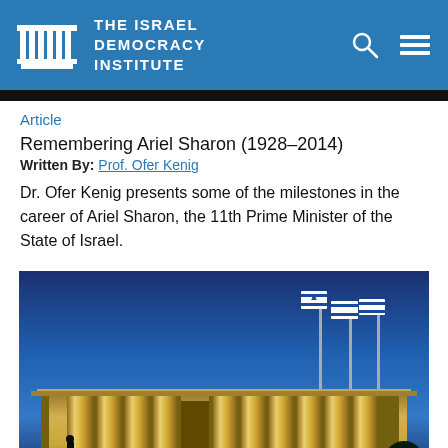THE ISRAEL DEMOCRACY INSTITUTE
Article
Remembering Ariel Sharon (1928–2014)
Written By: Prof. Ofer Kenig
Dr. Ofer Kenig presents some of the milestones in the career of Ariel Sharon, the 11th Prime Minister of the State of Israel.
[Figure (photo): The Knesset building at night, illuminated with warm golden light, two Israeli flags on poles against a deep blue evening sky, a person silhouette visible in the foreground]